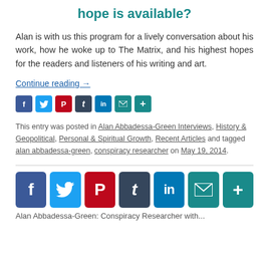hope is available?
Alan is with us this program for a lively conversation about his work, how he woke up to The Matrix, and his highest hopes for the readers and listeners of his writing and art.
Continue reading →
[Figure (other): Row of small social media sharing icons: Facebook, Twitter, Pinterest, Tumblr, LinkedIn, Email, Share]
This entry was posted in Alan Abbadessa-Green Interviews, History & Geopolitical, Personal & Spiritual Growth, Recent Articles and tagged alan abbadessa-green, conspiracy researcher on May 19, 2014.
[Figure (other): Row of large social media sharing icons: Facebook, Twitter, Pinterest, Tumblr, LinkedIn, Email, Share]
Alan Abbadessa-Green: Conspiracy Researcher with...